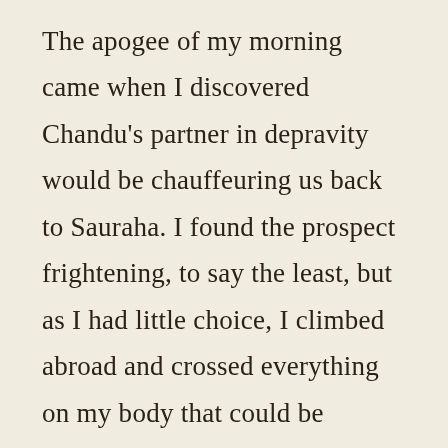The apogee of my morning came when I discovered Chandu's partner in depravity would be chauffeuring us back to Sauraha. I found the prospect frightening, to say the least, but as I had little choice, I climbed abroad and crossed everything on my body that could be crossed for luck. The roads were unpaved and uneven, so speed wasn't an issue. I also monitored his movements. His driving was